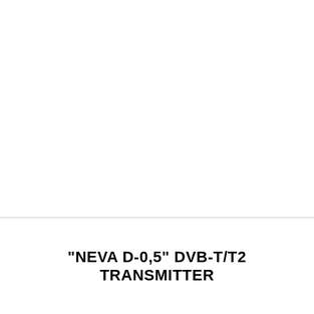"NEVA D-0,5" DVB-T/T2 TRANSMITTER